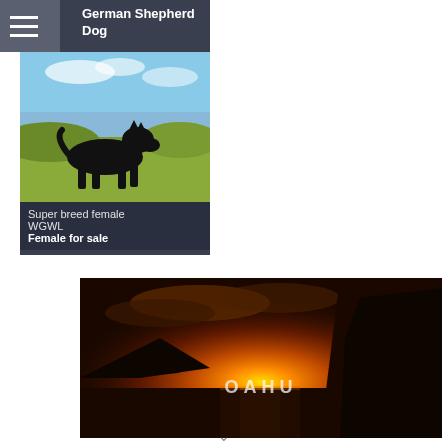[Figure (photo): Card with a black German Shepherd dog standing on grass with blue sky background. Card header reads 'German Shepherd Dog'. Footer text: 'Super breed female WGWL' and 'Female for sale'.]
Super breed female WGWL
Female for sale
[Figure (photo): Scenic sunset photo of OAHU with orange and red sky, silhouetted cliffs and mountains, and reflective water. Text overlay reads 'OAHU'.]